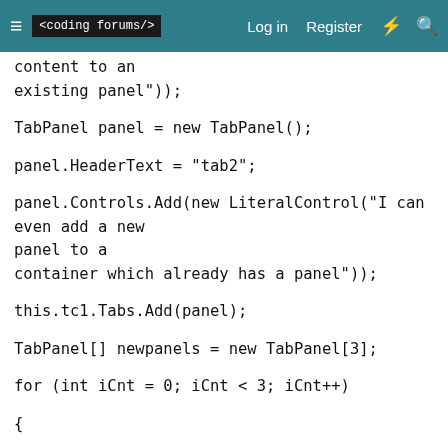≡  <coding forums/>   Log in   Register   ⚡   🔍
content to an
existing panel"));

TabPanel panel = new TabPanel();

panel.HeaderText = "tab2";

panel.Controls.Add(new LiteralControl("I can even add a new panel to a
container which already has a panel"));

this.tc1.Tabs.Add(panel);

TabPanel[] newpanels = new TabPanel[3];

for (int iCnt = 0; iCnt < 3; iCnt++)

{

newpanels[iCnt] = new TabPanel();